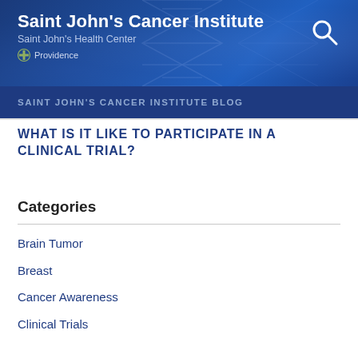Saint John's Cancer Institute
Saint John's Health Center
Providence
SAINT JOHN'S CANCER INSTITUTE BLOG
WHAT IS IT LIKE TO PARTICIPATE IN A CLINICAL TRIAL?
Categories
Brain Tumor
Breast
Cancer Awareness
Clinical Trials